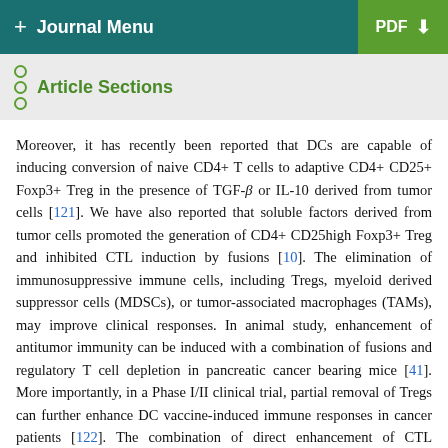+ Journal Menu | PDF ↓
Article Sections
Moreover, it has recently been reported that DCs are capable of inducing conversion of naive CD4+ T cells to adaptive CD4+ CD25+ Foxp3+ Treg in the presence of TGF-β or IL-10 derived from tumor cells [121]. We have also reported that soluble factors derived from tumor cells promoted the generation of CD4+ CD25high Foxp3+ Treg and inhibited CTL induction by fusions [10]. The elimination of immunosuppressive immune cells, including Tregs, myeloid derived suppressor cells (MDSCs), or tumor-associated macrophages (TAMs), may improve clinical responses. In animal study, enhancement of antitumor immunity can be induced with a combination of fusions and regulatory T cell depletion in pancreatic cancer bearing mice [41]. More importantly, in a Phase I/II clinical trial, partial removal of Tregs can further enhance DC vaccine-induced immune responses in cancer patients [122]. The combination of direct enhancement of CTL function and concomitant inhibition of Treg function through blockade of cytotoxic T lymphocyte-associated antigen 4 (CTLA-4) on both